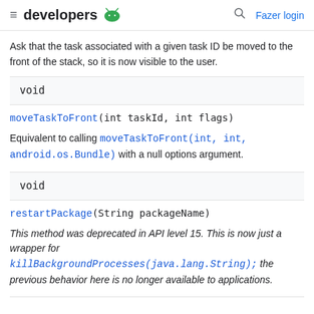developers [android logo] [search] Fazer login
Ask that the task associated with a given task ID be moved to the front of the stack, so it is now visible to the user.
void
moveTaskToFront(int taskId, int flags)
Equivalent to calling moveTaskToFront(int, int, android.os.Bundle) with a null options argument.
void
restartPackage(String packageName)
This method was deprecated in API level 15. This is now just a wrapper for killBackgroundProcesses(java.lang.String); the previous behavior here is no longer available to applications.